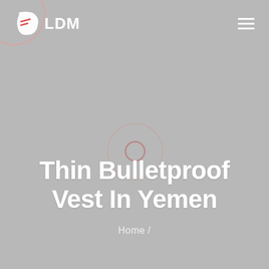LDM
Thin Bulletproof Vest In Yemen
Home /